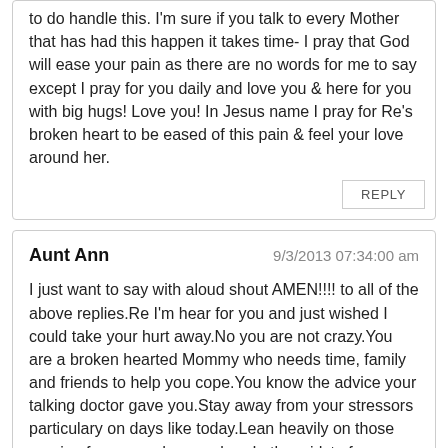to do handle this. I'm sure if you talk to every Mother that has had this happen it takes time- I pray that God will ease your pain as there are no words for me to say except I pray for you daily and love you & here for you with big hugs! Love you! In Jesus name I pray for Re's broken heart to be eased of this pain & feel your love around her.
REPLY
Aunt Ann
9/3/2013 07:34:00 am
I just want to say with aloud shout AMEN!!!! to all of the above replies.Re I'm hear for you and just wished I could take your hurt away.No you are not crazy.You are a broken hearted Mommy who needs time, family and friends to help you cope.You know the advice your talking doctor gave you.Stay away from your stressors particulary on days like today.Lean heavily on those praying for you and remember :In the midst of every trial,GOD is on your side.Trust Him to bring you through as He answers our prayers for you ,especially Kim's.Nothing is impossible when you put your trust in GOD!!! I know this is a difficult time for you. May you feel God's presence as close to you as Angel Wings beating gently upon your loneliness,causing it to go away